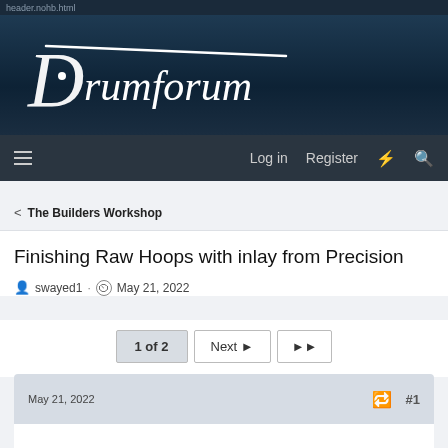header.nohb.html
[Figure (logo): Drumforum logo — stylized white italic script text on dark blue gradient background]
Log in  Register
< The Builders Workshop
Finishing Raw Hoops with inlay from Precision
swayed1 · May 21, 2022
1 of 2  Next ▶  ▶▶
May 21, 2022  #1